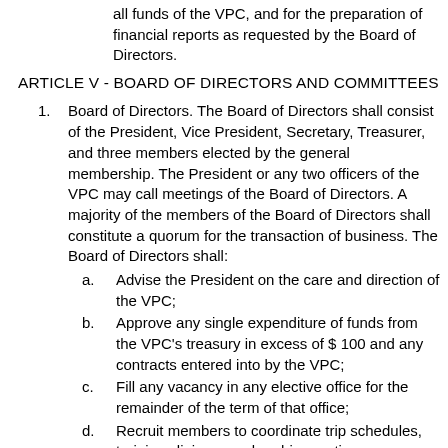all funds of the VPC, and for the preparation of financial reports as requested by the Board of Directors.
ARTICLE V - BOARD OF DIRECTORS AND COMMITTEES
Board of Directors. The Board of Directors shall consist of the President, Vice President, Secretary, Treasurer, and three members elected by the general membership. The President or any two officers of the VPC may call meetings of the Board of Directors. A majority of the members of the Board of Directors shall constitute a quorum for the transaction of business. The Board of Directors shall:
Advise the President on the care and direction of the VPC;
Approve any single expenditure of funds from the VPC's treasury in excess of $ 100 and any contracts entered into by the VPC;
Fill any vacancy in any elective office for the remainder of the term of that office;
Recruit members to coordinate trip schedules, training clinics, membership meetings,